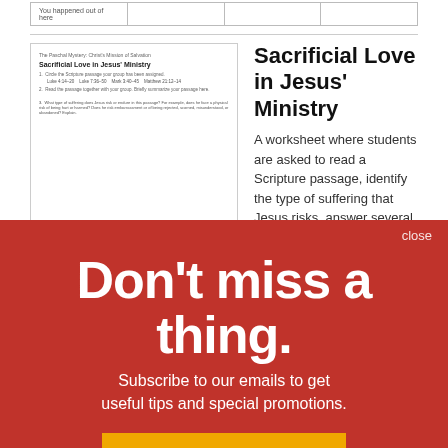[Figure (screenshot): Partial view of a worksheet thumbnail showing 'Sacrificial Love in Jesus Ministry' with Scripture references]
Sacrificial Love in Jesus' Ministry
A worksheet where students are asked to read a Scripture passage, identify the type of suffering that Jesus risks, answer several questions regarding sacrifice and suffering...
Don't miss a thing.
Subscribe to our emails to get useful tips and special promotions.
Sign Up
close
Catholic Mission and/or Volunteer Organizations
A worksheet where students are asked to research a mission or volunteer organization and answer several